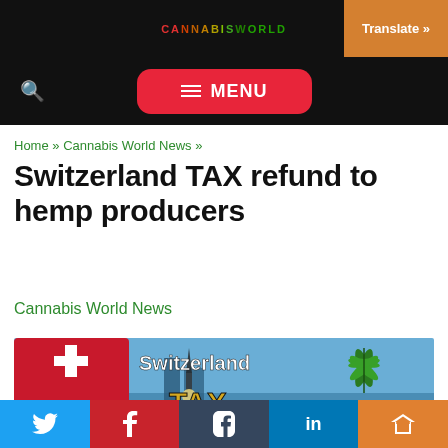CANNABIS WORLD NEWS
Translate »
MENU
Home » Cannabis World News »
Switzerland TAX refund to hemp producers
Cannabis World News
[Figure (photo): Feature image showing Switzerland cityscape with Swiss flag, cannabis leaf, and TAX text in gold letters]
Twitter | Pinterest | Tumblr | LinkedIn | Share